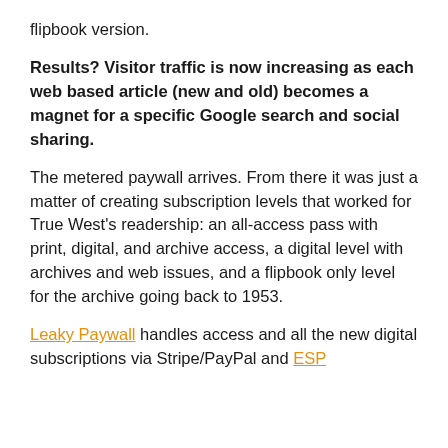flipbook version.
Results? Visitor traffic is now increasing as each web based article (new and old) becomes a magnet for a specific Google search and social sharing.
The metered paywall arrives. From there it was just a matter of creating subscription levels that worked for True West's readership: an all-access pass with print, digital, and archive access, a digital level with archives and web issues, and a flipbook only level for the archive going back to 1953.
Leaky Paywall handles access and all the new digital subscriptions via Stripe/PayPal and ESP